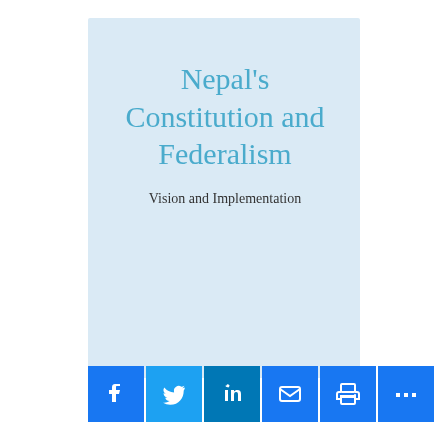[Figure (other): Light blue book cover background rectangle]
Nepal's Constitution and Federalism
Vision and Implementation
[Figure (infographic): Social sharing buttons row: Facebook, Twitter, LinkedIn, Email, Print, More (+)]